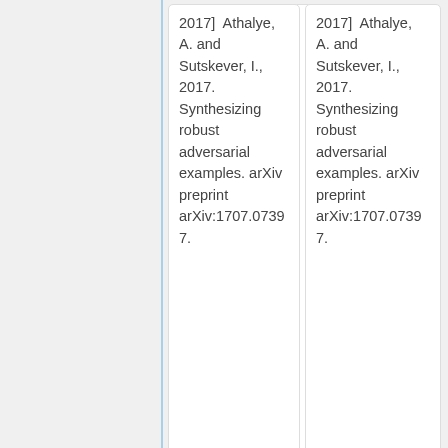2017] Athalye, A. and Sutskever, I., 2017. Synthesizing robust adversarial examples. arXiv preprint arXiv:1707.07397.
2017] Athalye, A. and Sutskever, I., 2017. Synthesizing robust adversarial examples. arXiv preprint arXiv:1707.07397.
#""[Ma, 2018]"" Ma, Xingjun, Bo Li, Yisen Wang, Sarah M. Erfani, Sudanthi Wijewickrema, Michael E. Houle, Grant Schoenebeck, Dawn Song, and James Bailey. "Characterizing
#""[Ma, 2018]"" Ma, Xingjun, Bo Li, Yisen Wang, Sarah M. Erfani, Sudanthi Wijewickrema, Michael E. Houle, Grant Schoenebeck, Dawn Song, and James Bailey. "Characterizing